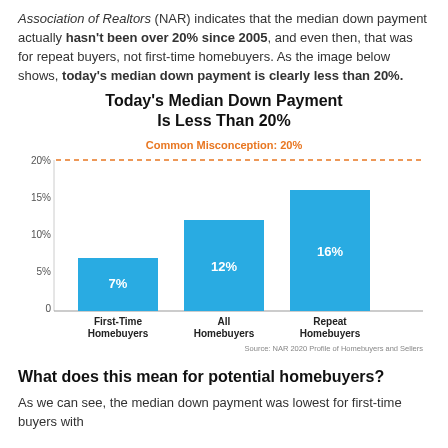Association of Realtors (NAR) indicates that the median down payment actually hasn't been over 20% since 2005, and even then, that was for repeat buyers, not first-time homebuyers. As the image below shows, today's median down payment is clearly less than 20%.
Today's Median Down Payment Is Less Than 20%
[Figure (bar-chart): Today's Median Down Payment Is Less Than 20%]
What does this mean for potential homebuyers?
As we can see, the median down payment was lowest for first-time buyers with